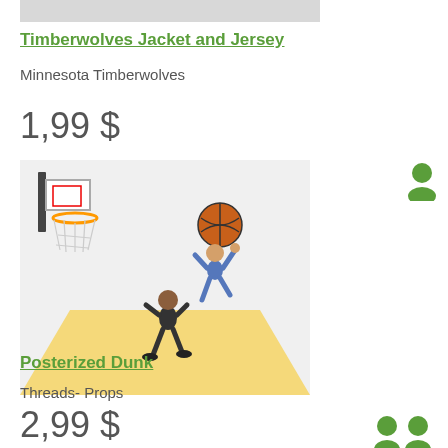[Figure (other): Gray placeholder bar at top of page]
Timberwolves Jacket and Jersey
Minnesota Timberwolves
1,99 $
[Figure (illustration): Basketball game scene with two animated player figures near a basketball hoop, with a yellow court floor]
[Figure (illustration): Small green avatar/profile icon on the right side]
Posterized Dunk
Threads- Props
2,99 $
[Figure (illustration): Two small green avatar/profile icons at bottom right]